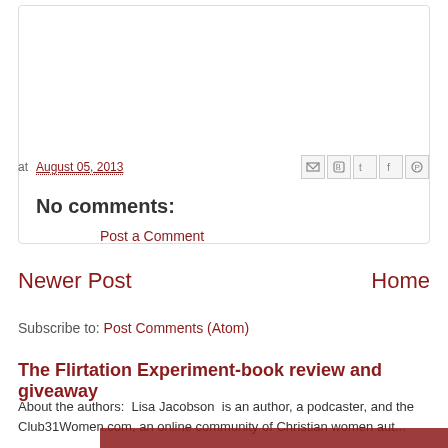at August 05, 2013
No comments:
Post a Comment
Newer Post
Home
Subscribe to: Post Comments (Atom)
The Flirtation Experiment-book review and giveaway
About the authors:  Lisa Jacobson  is an author, a podcaster, and the Club31Women.com, an online community of Christian women aut...
[Figure (photo): Red and white book cover image strip at bottom of page]